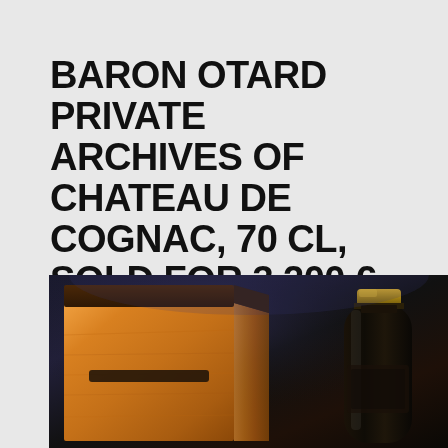BARON OTARD PRIVATE ARCHIVES OF CHATEAU DE COGNAC, 70 CL, SOLD FOR 3,200 €
[Figure (photo): Product photo of Baron Otard Private Archives of Chateau de Cognac showing a luxury burl wood presentation box with dark lid and a glass cognac decanter bottle with gold cap, set against a dark blue-black background.]